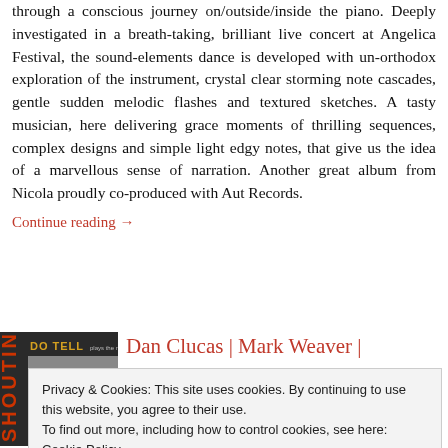through a conscious journey on/outside/inside the piano. Deeply investigated in a breath-taking, brilliant live concert at Angelica Festival, the sound-elements dance is developed with un-orthodox exploration of the instrument, crystal clear storming note cascades, gentle sudden melodic flashes and textured sketches. A tasty musician, here delivering grace moments of thrilling sequences, complex designs and simple light edgy notes, that give us the idea of a marvellous sense of narration. Another great album from Nicola proudly co-produced with Aut Records.
Continue reading →
[Figure (photo): Album cover for 'Do Tell' featuring rotated vertical text and dark background]
Dan Clucas | Mark Weaver |
Privacy & Cookies: This site uses cookies. By continuing to use this website, you agree to their use. To find out more, including how to control cookies, see here: Cookie Policy
Close and accept
Julius Hemphill's music is about